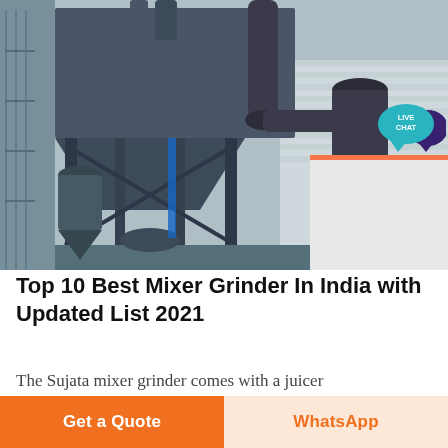[Figure (photo): Industrial machinery photo showing a large metal dust collector or hopper structure with steel framework, pipes, and industrial equipment in an outdoor factory setting. A 'LIVE CHAT' speech bubble badge appears in the top right corner.]
Top 10 Best Mixer Grinder In India with Updated List 2021
The Sujata mixer grinder comes with a juicer equipped with honeycomb filter mesh for the best
Get a Quote | WhatsApp